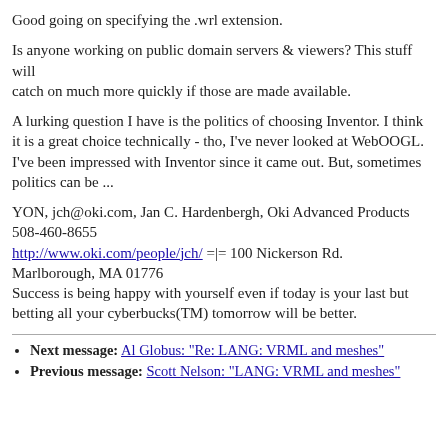Good going on specifying the .wrl extension.
Is anyone working on public domain servers & viewers? This stuff will catch on much more quickly if those are made available.
A lurking question I have is the politics of choosing Inventor. I think it is a great choice technically - tho, I've never looked at WebOOGL. I've been impressed with Inventor since it came out. But, sometimes politics can be ...
YON, jch@oki.com, Jan C. Hardenbergh, Oki Advanced Products 508-460-8655
http://www.oki.com/people/jch/ =|= 100 Nickerson Rd.
Marlborough, MA 01776
Success is being happy with yourself even if today is your last but betting all your cyberbucks(TM) tomorrow will be better.
Next message: Al Globus: "Re: LANG: VRML and meshes"
Previous message: Scott Nelson: "LANG: VRML and meshes"